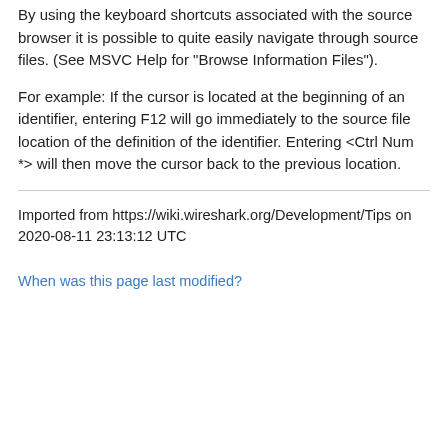By using the keyboard shortcuts associated with the source browser it is possible to quite easily navigate through source files. (See MSVC Help for "Browse Information Files").
For example: If the cursor is located at the beginning of an identifier, entering F12 will go immediately to the source file location of the definition of the identifier. Entering <Ctrl Num *> will then move the cursor back to the previous location.
Imported from https://wiki.wireshark.org/Development/Tips on 2020-08-11 23:13:12 UTC
When was this page last modified?